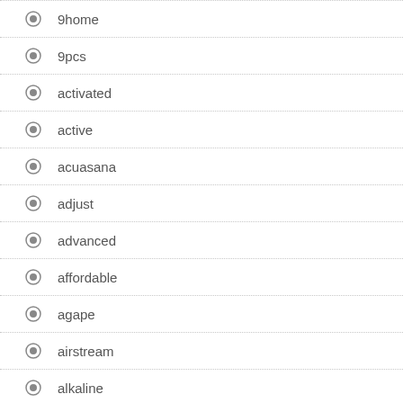9home
9pcs
activated
active
acuasana
adjust
advanced
affordable
agape
airstream
alkaline